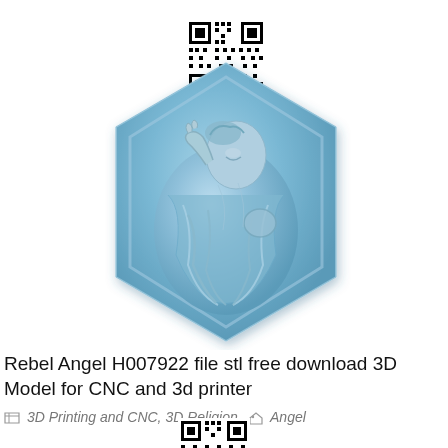[Figure (photo): QR code in top-left area of page, black and white square QR code pattern]
[Figure (illustration): 3D rendered hexagonal tile in blue color featuring a classical angel or female figure in relief sculpture style, resembling a Michelangelo-style 3D model for CNC/3D printing]
Rebel Angel H007922 file stl free download 3D Model for CNC and 3d printer
3D Printing and CNC, 3D Religion  Angel
[Figure (photo): Partial QR code visible at bottom of page, partially cropped]